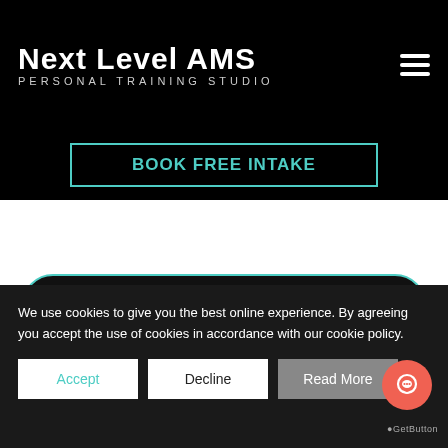Next Level AMS PERSONAL TRAINING STUDIO
BOOK FREE INTAKE
BOOK YOUR FREE TRIAL WEEK
We use cookies to give you the best online experience. By agreeing you accept the use of cookies in accordance with our cookie policy.
Accept
Decline
Read More